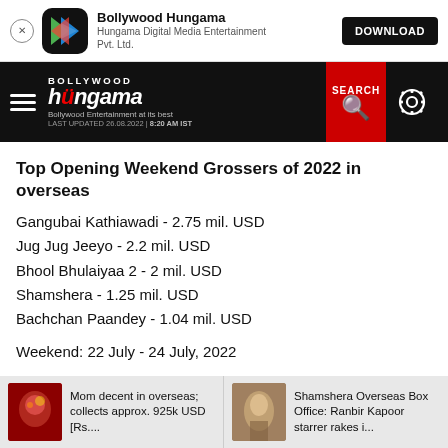[Figure (screenshot): Bollywood Hungama app banner with icon, name, subtitle, and DOWNLOAD button]
[Figure (screenshot): Bollywood Hungama website navigation bar with hamburger menu, logo, SEARCH button, and settings gear icon. Last updated 26.08.2022 | 8:20 AM IST]
Top Opening Weekend Grossers of 2022 in overseas
Gangubai Kathiawadi - 2.75 mil. USD
Jug Jug Jeeyo - 2.2 mil. USD
Bhool Bhulaiyaa 2 - 2 mil. USD
Shamshera - 1.25 mil. USD
Bachchan Paandey - 1.04 mil. USD
Weekend: 22 July - 24 July, 2022
[Figure (photo): Related article thumbnail - red toned image (Mom movie)]
Mom decent in overseas; collects approx. 925k USD [Rs....
[Figure (photo): Related article thumbnail - Shamshera movie image (Ranbir Kapoor)]
Shamshera Overseas Box Office: Ranbir Kapoor starrer rakes i...